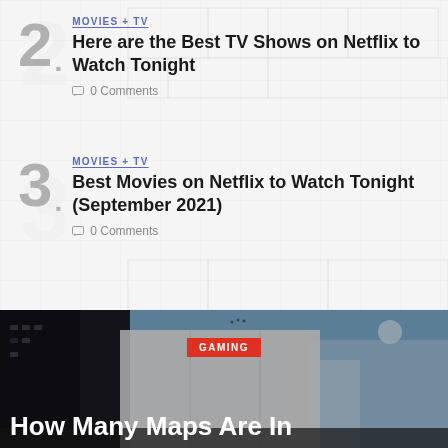2. MOVIES + TV — Here are the Best TV Shows on Netflix to Watch Tonight — 0 Comments
3. MOVIES + TV — Best Movies on Netflix to Watch Tonight (September 2021) — 0 Comments
[Figure (photo): Urban street scene with building and blue sky, used as background for a Gaming article teaser]
GAMING
How Many Maps Are In